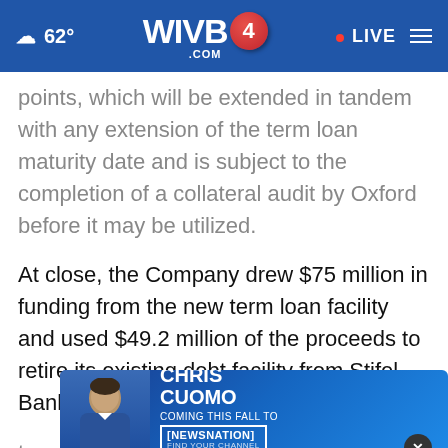62° WIVB4.COM · LIVE
points, which will be extended in tandem with any extension of the term loan maturity date and is subject to the completion of a collateral audit by Oxford before it may be utilized.

At close, the Company drew $75 million in funding from the new term loan facility and used $49.2 million of the proceeds to retire its existing debt facility from Stifel Bank. A second tranche of up to $75 million, which may be drawn...ough
[Figure (screenshot): Advertisement banner for Chris Cuomo Coming This Fall to NewsNation. Features a photo of Chris Cuomo on blue background with NewsNation logo.]